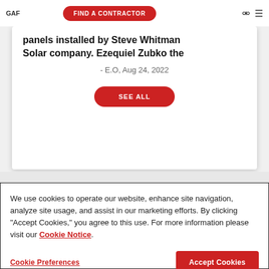GAF | FIND A CONTRACTOR
panels installed by Steve Whitman Solar company. Ezequiel Zubko the
- E.O, Aug 24, 2022
SEE ALL
We use cookies to operate our website, enhance site navigation, analyze site usage, and assist in our marketing efforts. By clicking "Accept Cookies," you agree to this use. For more information please visit our Cookie Notice.
Cookie Preferences
Accept Cookies